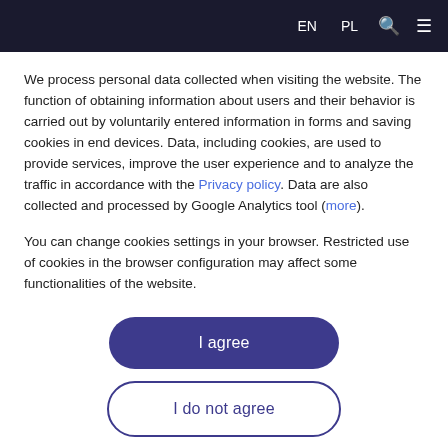EN  PL  🔍  ☰
We process personal data collected when visiting the website. The function of obtaining information about users and their behavior is carried out by voluntarily entered information in forms and saving cookies in end devices. Data, including cookies, are used to provide services, improve the user experience and to analyze the traffic in accordance with the Privacy policy. Data are also collected and processed by Google Analytics tool (more).
You can change cookies settings in your browser. Restricted use of cookies in the browser configuration may affect some functionalities of the website.
I agree
I do not agree